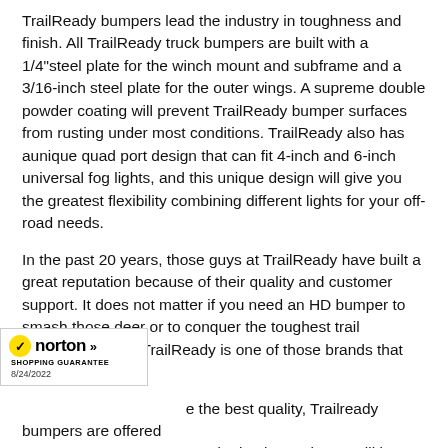TrailReady bumpers lead the industry in toughness and finish. All TrailReady truck bumpers are built with a 1/4"steel plate for the winch mount and subframe and a 3/16-inch steel plate for the outer wings. A supreme double powder coating will prevent TrailReady bumper surfaces from rusting under most conditions. TrailReady also has aunique quad port design that can fit 4-inch and 6-inch universal fog lights, and this unique design will give you the greatest flexibility combining different lights for your off-road needs.
In the past 20 years, those guys at TrailReady have built a great reputation because of their quality and customer support. It does not matter if you need an HD bumper to smash those deer or to conquer the toughest trail surrounding you; TrailReady is one of those brands that you can count on.
[Figure (logo): Norton Shopping Guarantee badge dated 8/24/2022]
e the best quality, Trailready bumpers are offered order basis. Each one will be tailor made for